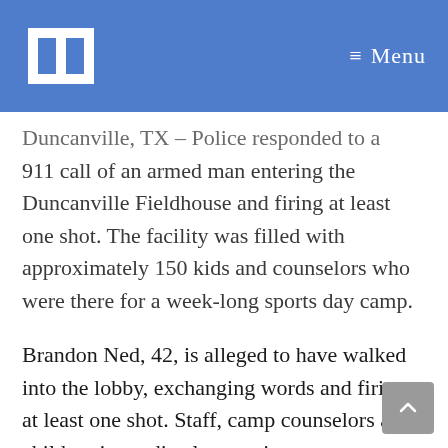≡ Menu
Duncanville, TX – Police responded to a 911 call of an armed man entering the Duncanville Fieldhouse and firing at least one shot. The facility was filled with approximately 150 kids and counselors who were there for a week-long sports day camp.

Brandon Ned, 42, is alleged to have walked into the lobby, exchanging words and firing at least one shot. Staff, camp counselors and children immediately went into